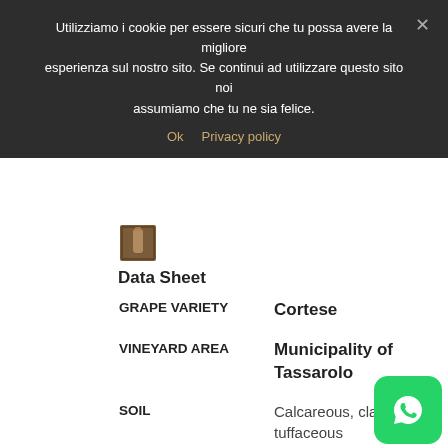Utilizziamo i cookie per essere sicuri che tu possa avere la migliore esperienza sul nostro sito. Se continui ad utilizzare questo sito noi assumiamo che tu ne sia felice.
Ok  Privacy policy
[Figure (photo): Small thumbnail image of a wine bottle or product]
Data Sheet
| GRAPE VARIETY | Cortese |
| VINEYARD AREA | Municipality of Tassarolo |
| SOIL | Calcareous, clayey, tuffaceous |
| CULTIVATION TECHNIQUE | Counter-espalier training, Guyot pruning. Plowing and milling of the soil Anti-cryptogamic treatments targeted |
[Figure (logo): WhatsApp green button logo in bottom right corner]